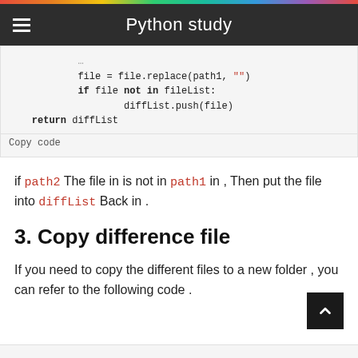Python study
[Figure (screenshot): Code block showing Python code: file = file.replace(path1, ""), if file not in fileList:, diffList.push(file), return diffList, Copy code]
if path2 The file in is not in path1 in , Then put the file into diffList Back in .
3. Copy difference file
If you need to copy the different files to a new folder , you can refer to the following code .